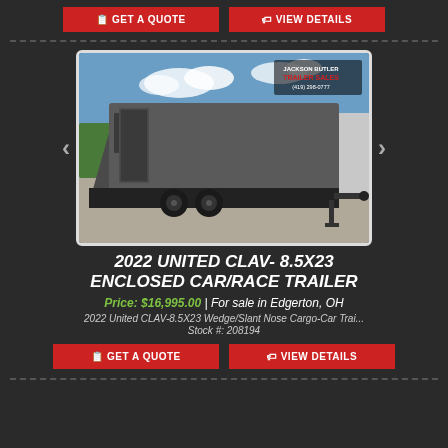[Figure (other): Two red buttons at the top: GET A QUOTE and VIEW DETAILS]
[Figure (photo): Photo of a 2022 United CLAV-8.5X23 enclosed car/race trailer, gray/charcoal color, parked in a lot, with Jackson Butler Trailer Sales logo in upper right corner]
2022 UNITED CLAV- 8.5X23 ENCLOSED CAR/RACE TRAILER
Price: $16,995.00 | For sale in Edgerton, OH
2022 United CLAV-8.5X23 Wedge/Slant Nose Cargo-Car Trai...
Stock #: 208194
[Figure (other): Two red buttons at the bottom: GET A QUOTE and VIEW DETAILS]